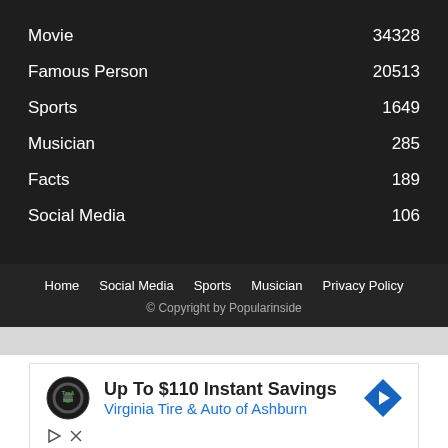Movie  34328
Famous Person  20513
Sports  1649
Musician  285
Facts  189
Social Media  106
Home  Social Media  Sports  Musician  Privacy Policy
© Copyright by Popularinside
[Figure (infographic): Advertisement banner: Tire & Auto logo, text 'Up To $110 Instant Savings', 'Virginia Tire & Auto of Ashburn', navigation arrow icon, and ad controls (play and close icons)]